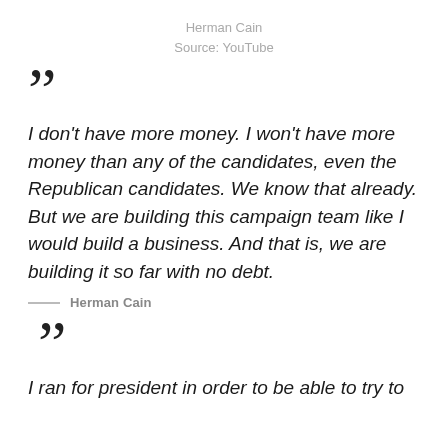Herman Cain
Source: YouTube
“I don’t have more money. I won’t have more money than any of the candidates, even the Republican candidates. We know that already. But we are building this campaign team like I would build a business. And that is, we are building it so far with no debt.
— Herman Cain
“I ran for president in order to be able to try to